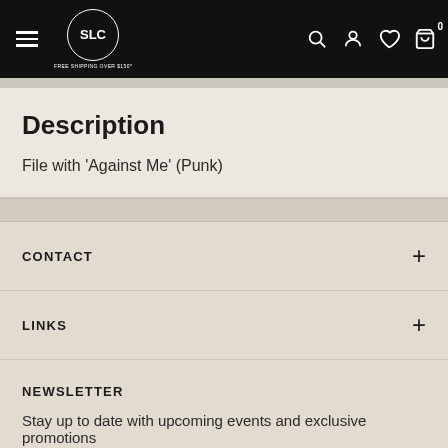FREE SHIPPING OVER $150*
Description
File with 'Against Me' (Punk)
CONTACT
LINKS
NEWSLETTER
Stay up to date with upcoming events and exclusive promotions